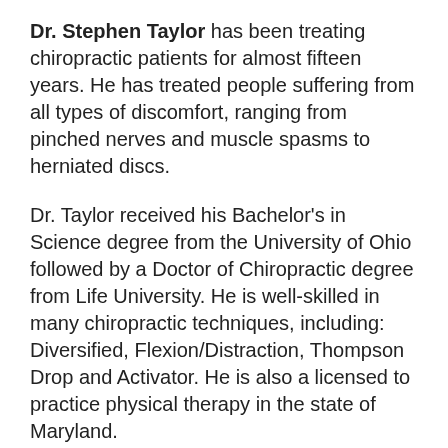Dr. Stephen Taylor has been treating chiropractic patients for almost fifteen years. He has treated people suffering from all types of discomfort, ranging from pinched nerves and muscle spasms to herniated discs.
Dr. Taylor received his Bachelor's in Science degree from the University of Ohio followed by a Doctor of Chiropractic degree from Life University. He is well-skilled in many chiropractic techniques, including: Diversified, Flexion/Distraction, Thompson Drop and Activator. He is also a licensed to practice physical therapy in the state of Maryland.
Dr. Taylor is married to his wife Cheryl and is a proud father to his two children Jordyn and Dylan.
Our office has a bilingual staff where we speak both English and Spanish. We welcome all people into our